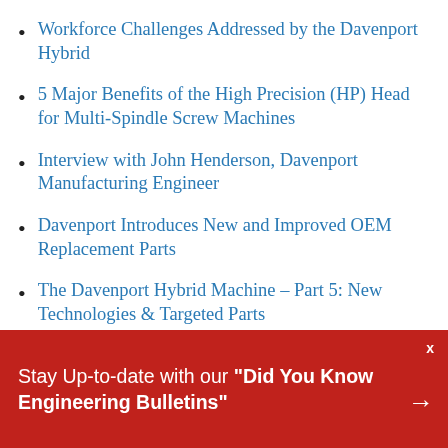Workforce Challenges Addressed by the Davenport Hybrid
5 Major Benefits of the High Precision (HP) Head for Multi-Spindle Screw Machines
Interview with John Henderson, Davenport Manufacturing Engineer
Davenport Introduces New and Improved OEM Replacement Parts
The Davenport Hybrid Machine – Part 5: New Technologies & Targeted Parts
Archives:
Stay Up-to-date with our "Did You Know Engineering Bulletins"